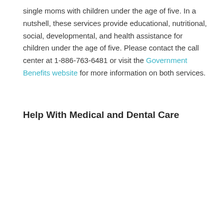single moms with children under the age of five. In a nutshell, these services provide educational, nutritional, social, developmental, and health assistance for children under the age of five. Please contact the call center at 1-886-763-6481 or visit the Government Benefits website for more information on both services.
Help With Medical and Dental Care